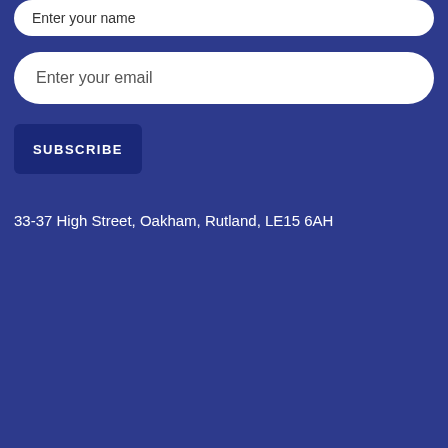Enter your name
Enter your email
SUBSCRIBE
33-37 High Street, Oakham, Rutland, LE15 6AH